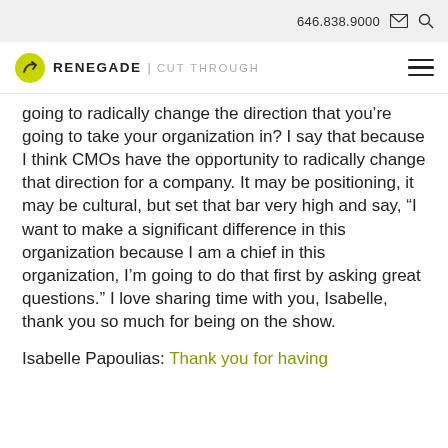646.838.9000
[Figure (logo): Renegade | Cut Through logo with yellow circle icon]
going to radically change the direction that you’re going to take your organization in? I say that because I think CMOs have the opportunity to radically change that direction for a company. It may be positioning, it may be cultural, but set that bar very high and say, “I want to make a significant difference in this organization because I am a chief in this organization, I’m going to do that first by asking great questions.” I love sharing time with you, Isabelle, thank you so much for being on the show.
Isabelle Papoulias: Thank you for having